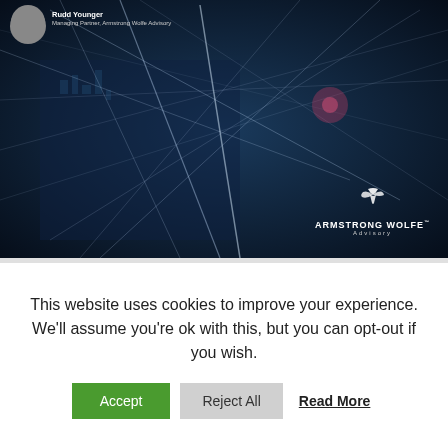[Figure (illustration): Armstrong Wolfe Advisory branded image featuring a dark blue cityscape/network visualization background with white interconnecting lines. A person's headshot (male, dark jacket) and name 'Managing Partner, Armstrong Wolfe Advisory' appear top left. The Armstrong Wolfe logo with eagle and text 'ARMSTRONG WOLFE™ Advisory' appears bottom right.]
This website uses cookies to improve your experience. We'll assume you're ok with this, but you can opt-out if you wish.
Accept | Reject All | Read More